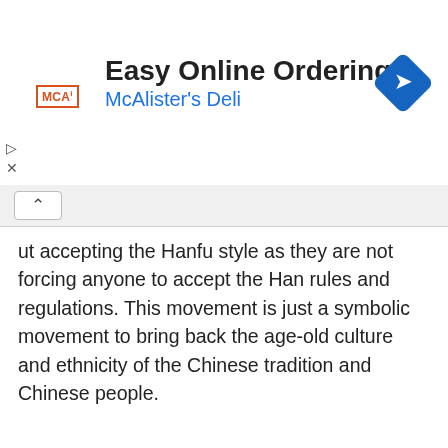[Figure (screenshot): Advertisement banner for McAlister's Deli with 'Easy Online Ordering' headline, MCA logo, blue subtitle, and a blue diamond navigation arrow icon]
ut accepting the Hanfu style as they are not forcing anyone to accept the Han rules and regulations. This movement is just a symbolic movement to bring back the age-old culture and ethnicity of the Chinese tradition and Chinese people.
[Figure (photo): A crowd of people dressed in traditional Chinese Hanfu clothing, featuring white, light blue, red, and black garments, walking together outdoors]